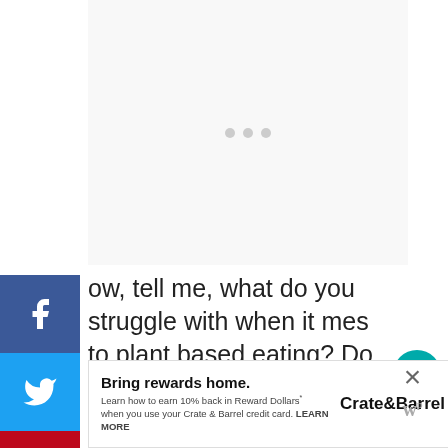[Figure (other): Top ad placeholder area with three gray dots indicating loading advertisement]
[Figure (other): Social media sharing sidebar with Facebook (blue), Twitter (light blue), Pinterest (red), Email (green), and Print (gray) buttons]
ow, tell me, what do you struggle with when it mes to plant based eating? Do products like ese have a place in your meal prep? (They certainly do in some of mine!!) And lastly, which product are you looking forward to trying first?
[Figure (other): Like/favorite heart button (teal circle) with count 146, and share button]
[Figure (other): Bottom advertisement banner: Bring rewards home. Crate&Barrel. Learn how to earn 10% back in Reward Dollars when you use your Crate & Barrel credit card. LEARN MORE. With close X button and W logo.]